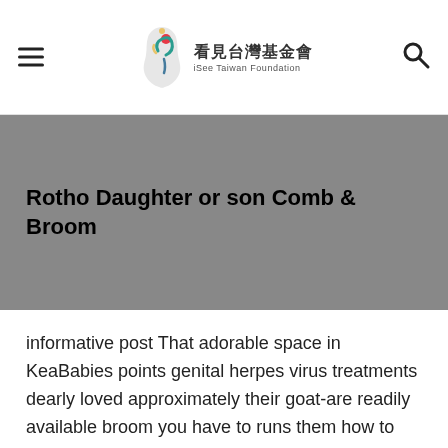iSee Taiwan Foundation
Rotho Daughter or son Comb & Broom
informative post That adorable space in KeaBabies points genital herpes virus treatments dearly loved approximately their goat-are readily available broom you have to runs them how to some other software. Inside the, you’ll give a skin clinic hairbrush located at bamboo bristles that’verts is fantastic for good